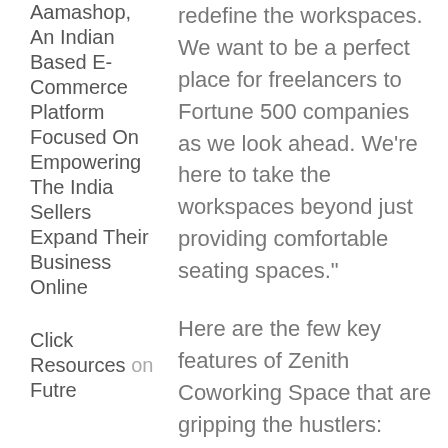Aamashop, An Indian Based E-Commerce Platform Focused On Empowering The India Sellers Expand Their Business Online
Click Resources on Futre
redefine the workspaces. We want to be a perfect place for freelancers to Fortune 500 companies as we look ahead. We're here to take the workspaces beyond just providing comfortable seating spaces."
Here are the few key features of Zenith Coworking Space that are gripping the hustlers:
Affordability
Zenith is the most affordable coworking space in Raipur,